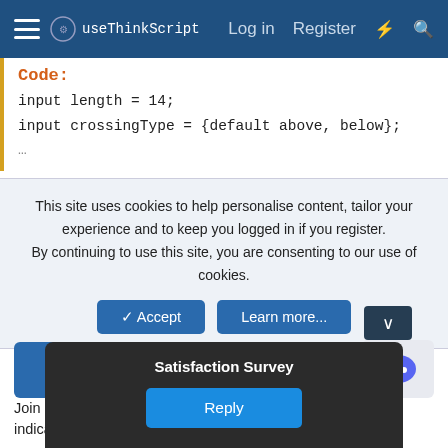useThinkScript — Log in   Register
Code:
input length = 14;
input crossingType = {default above, below};
This site uses cookies to help personalise content, tailor your experience and to keep you logged in if you register. By continuing to use this site, you are consenting to our use of cookies.
Accept   Learn more...
Make better trading decisions with less noise
Join useThinkScript to stay update to date on the latest indicators, trade strategies, and tips for thinkorswim.
Satisfaction Survey
Reply